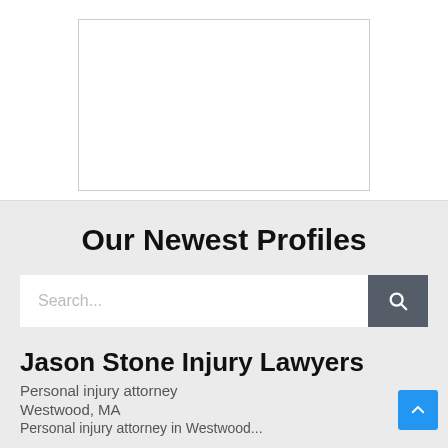[Figure (other): White rectangular box placeholder image in upper section of page]
Our Newest Profiles
Search...
Jason Stone Injury Lawyers
Personal injury attorney
Westwood, MA
Personal injury attorney in Westwood...